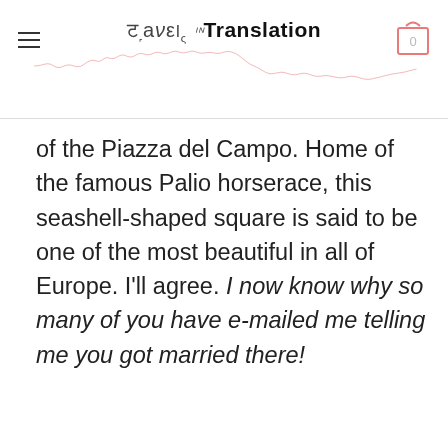Travels in Translation
of the Piazza del Campo. Home of the famous Palio horserace, this seashell-shaped square is said to be one of the most beautiful in all of Europe. I'll agree. I now know why so many of you have e-mailed me telling me you got married there!